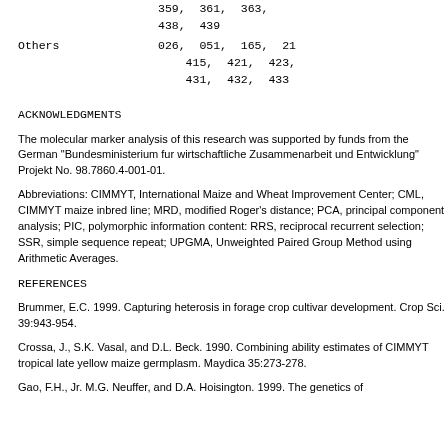359, 361, 363,
438, 439
Others    026, 051, 165, 21...
415, 421, 423,
431, 432, 433
ACKNOWLEDGMENTS
The molecular marker analysis of this research was supported by funds from the German "Bundesministerium fur wirtschaftliche Zusammenarbeit und Entwicklung" Projekt No. 98.7860.4-001-01.
Abbreviations: CIMMYT, International Maize and Wheat Improvement Center; CML, CIMMYT maize inbred line; MRD, modified Roger's distance; PCA, principal component analysis; PIC, polymorphic information content: RRS, reciprocal recurrent selection; SSR, simple sequence repeat; UPGMA, Unweighted Paired Group Method using Arithmetic Averages.
REFERENCES
Brummer, E.C. 1999. Capturing heterosis in forage crop cultivar development. Crop Sci. 39:943-954.
Crossa, J., S.K. Vasal, and D.L. Beck. 1990. Combining ability estimates of CIMMYT tropical late yellow maize germplasm. Maydica 35:273-278.
Gao, F.H., Jr. M.G. Neuffer, and D.A. Hoisington. 1999. The genetics of...